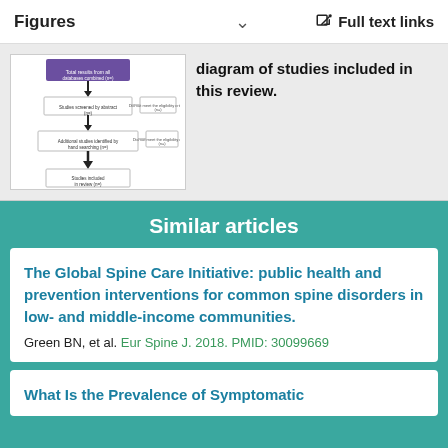Figures   ∨   Full text links
[Figure (flowchart): PRISMA flow diagram of studies included in this review.]
diagram of studies included in this review.
Similar articles
The Global Spine Care Initiative: public health and prevention interventions for common spine disorders in low- and middle-income communities.
Green BN, et al. Eur Spine J. 2018. PMID: 30099669
What Is the Prevalence of Symptomatic